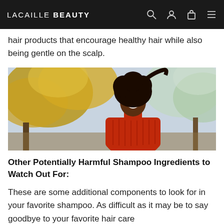LACAILLE BEAUTY
hair products that encourage healthy hair while also being gentle on the scalp.
[Figure (photo): A smiling young Black girl with long natural hair wearing a red turtleneck sweater, standing outdoors in front of autumn foliage trees.]
Other Potentially Harmful Shampoo Ingredients to Watch Out For:
These are some additional components to look for in your favorite shampoo. As difficult as it may be to say goodbye to your favorite hair care